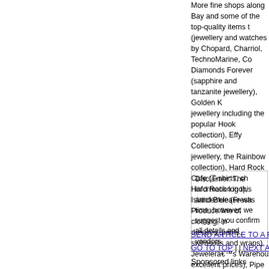More fine shops along Bay and some of the top-quality items there (jewellery and watches by Chopard, Charriol, TechnoMarine, Co... Diamonds Forever (sapphire and tanzanite jewellery), Golden K... jewellery including the popular Hook collection), Effy Collection... jewellery, the Rainbow collection), Hard Rock Cafe (T-shirts, ch... Hard Rock logo), Island Blue (Fresh Produce line of clothing, in... dresses, pants, swimsuits and wraps), Jewelerâ€™s Warehouse (excellent prices), Pipe of Peace (Bahama Cruise resort wear, w... sunglasses) and Sunglass Shack (luxury eyewear and the affor... line).
Disclaimer: The information in this article/release was... time; however, we suggest you confirm all details and... vendors.
SEND ARTICLE TO A FRIEND | PRINT ARTICLE
GO TO TOP | | NEXT ARTICLE
Sponsored links
Luxury Villas in Abaco Bahamas
Browse luxury villas and vacation homes in Hope Town and Winding B...
www.caribbean.com
Bahamas hotels - Book Now!
Compare rates for Bahamas hotels and save $. We compare rates in...
www.hotelscombined.com
Red hot Bahamas. White hot Caribbean.
Incredible Bahamas & Caribbean Vacations. Experience the clear blu... the Caribbean. Browse hotels and specials to plan your perfect vacat...
www.caribbean.com